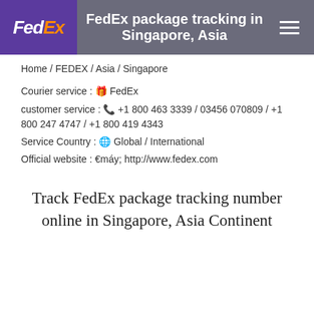FedEx package tracking in Singapore, Asia
Home / FEDEX / Asia / Singapore
Courier service : 🎁 FedEx
customer service : 📞 +1 800 463 3339 / 03456 070809 / +1 800 247 4747 / +1 800 419 4343
Service Country : 🌐 Global / International
Official website : 🖥 http://www.fedex.com
Track FedEx package tracking number online in Singapore, Asia Continent